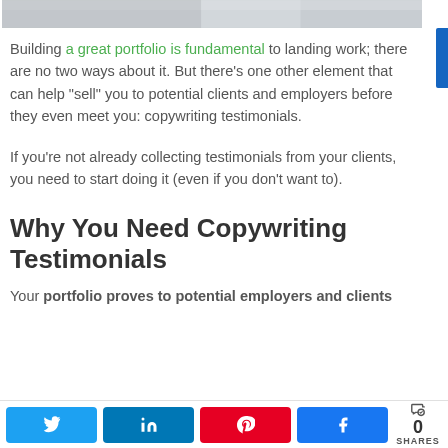[Figure (photo): Partial view of a photo strip at the top of the page, showing a blurred image with light tones.]
Building a great portfolio is fundamental to landing work; there are no two ways about it. But there's one other element that can help "sell" you to potential clients and employers before they even meet you: copywriting testimonials.
If you're not already collecting testimonials from your clients, you need to start doing it (even if you don't want to).
Why You Need Copywriting Testimonials
Your portfolio proves to potential employers and clients